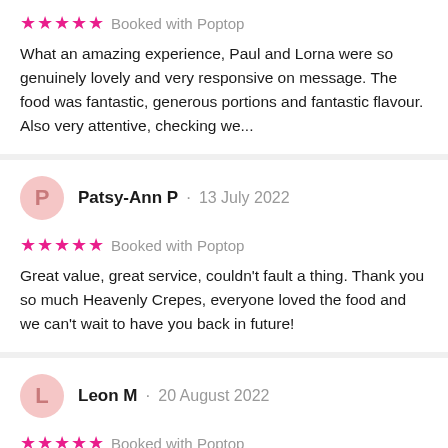★★★★★ Booked with Poptop
What an amazing experience, Paul and Lorna were so genuinely lovely and very responsive on message. The food was fantastic, generous portions and fantastic flavour. Also very attentive, checking we...
Patsy-Ann P · 13 July 2022
★★★★★ Booked with Poptop
Great value, great service, couldn't fault a thing. Thank you so much Heavenly Crepes, everyone loved the food and we can't wait to have you back in future!
Leon M · 20 August 2022
★★★★★ Booked with Poptop